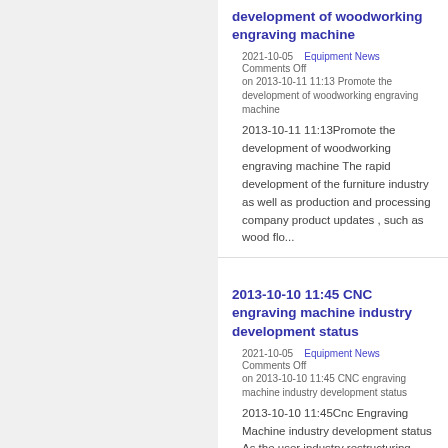development of woodworking engraving machine
2021-10-05    Equipment News
Comments Off on 2013-10-11 11:13 Promote the development of woodworking engraving machine
2013-10-11 11:13Promote the development of woodworking engraving machine The rapid development of the furniture industry as well as production and processing company product updates , such as wood flo...
2013-10-10 11:45 CNC engraving machine industry development status
2021-10-05    Equipment News
Comments Off on 2013-10-10 11:45 CNC engraving machine industry development status
2013-10-10 11:45Cnc Engraving Machine industry development status As the user industry restructuring , product upgrades , the user for CNC engraving machine and...